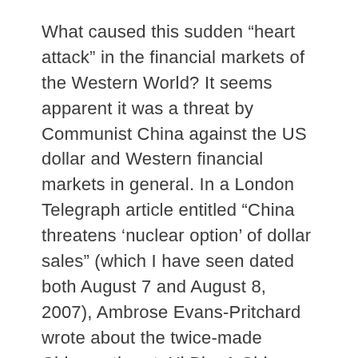What caused this sudden “heart attack” in the financial markets of the Western World? It seems apparent it was a threat by Communist China against the US dollar and Western financial markets in general. In a London Telegraph article entitled “China threatens ‘nuclear option’ of dollar sales” (which I have seen dated both August 7 and August 8, 2007), Ambrose Evans-Pritchard wrote about the twice-made Chinese threat. Xi Bin, A Chinese official with cabinet rank in China, indicated that “…Beijing’s foreign reserves should be used as a ‘bargaining chip’ in